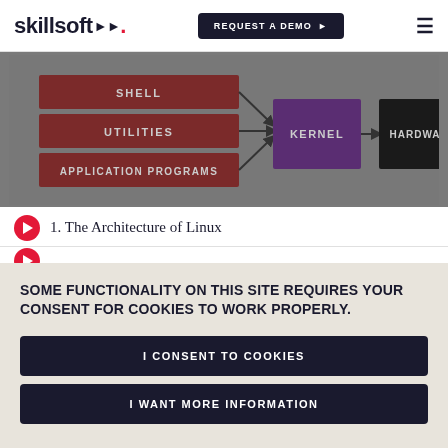skillsoft | REQUEST A DEMO
[Figure (flowchart): Linux architecture diagram showing SHELL, UTILITIES, APPLICATION PROGRAMS boxes on left (dark red) with arrows pointing to KERNEL (purple) which arrows to HARDWARE (black)]
1. The Architecture of Linux
SOME FUNCTIONALITY ON THIS SITE REQUIRES YOUR CONSENT FOR COOKIES TO WORK PROPERLY.
I CONSENT TO COOKIES
I WANT MORE INFORMATION